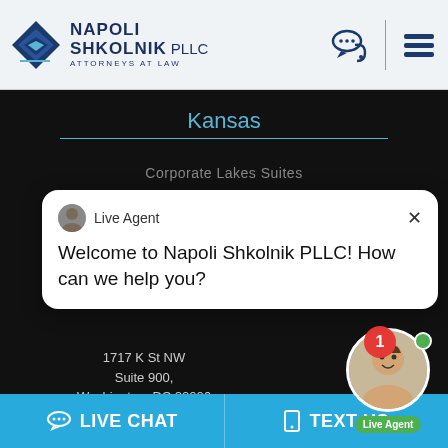[Figure (logo): Napoli Shkolnik PLLC Attorneys at Law logo with blue diamond shape]
Kansas
Corporate Lakes Suites
Live Agent
Welcome to Napoli Shkolnik PLLC! How can we help you?
1717 K St NW
Suite 900,
Washington, DC 20006
Available for Consultation
[Figure (photo): Live agent photo with notification badge showing 1 and green online indicator]
LIVE CHAT
TEXT US